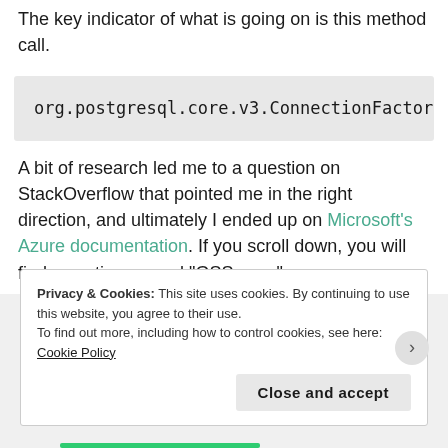The key indicator of what is going on is this method call.
[Figure (screenshot): Code block showing: org.postgresql.core.v3.ConnectionFactor]
A bit of research led me to a question on StackOverflow that pointed me in the right direction, and ultimately I ended up on Microsoft's Azure documentation. If you scroll down, you will find a section named "GSS error".
Privacy & Cookies: This site uses cookies. By continuing to use this website, you agree to their use.
To find out more, including how to control cookies, see here: Cookie Policy
Close and accept